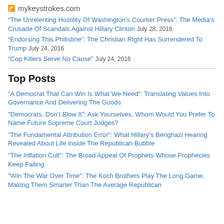mykeystrokes.com
“The Unrelenting Hostility Of Washington’s Courtier Press”: The Media’s Crusade Of Scandals Against Hillary Clinton July 28, 2016
“Endorsing This Philistine”: The Christian Right Has Surrendered To Trump July 24, 2016
“Cop Killers Serve No Cause” July 24, 2016
Top Posts
"A Democrat That Can Win Is What We Need": Translating Values Into Governance And Delivering The Goods
"Democrats, Don’t Blow It": Ask Yourselves, Whom Would You Prefer To Name Future Supreme Court Judges?
"The Fundamental Attribution Error": What Hillary’s Benghazi Hearing Revealed About Life Inside The Republican Bubble
"The Inflation Cult": The Broad Appeal Of Prophets Whose Prophecies Keep Failing
"Win The War Over Time": The Koch Brothers Play The Long Game, Making Them Smarter Than The Average Republican